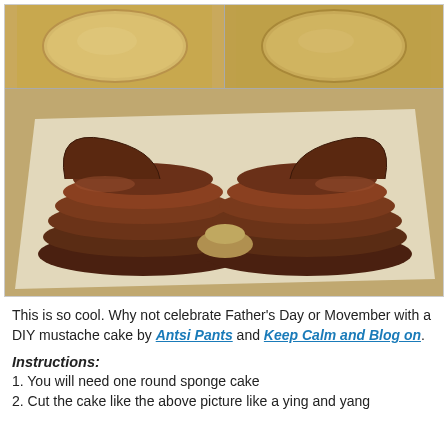[Figure (photo): Three-panel photo showing a mustache-shaped chocolate cake. Top-left panel: round sponge cake viewed from above. Top-right panel: another round sponge cake. Bottom panel: finished mustache-shaped layered chocolate frosted cake on parchment paper.]
This is so cool. Why not celebrate Father's Day or Movember with a DIY mustache cake by Antsi Pants and Keep Calm and Blog on.
Instructions:
1. You will need one round sponge cake
2. Cut the cake like the above picture like a ying and yang